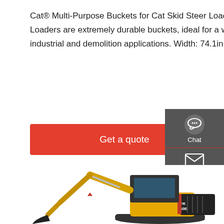Cat® Multi-Purpose Buckets for Cat Skid Steer Loaders, Multi Terrain Loaders and Compact Track Loaders are extremely durable buckets, ideal for a wide variety of tasks in construction, landscaping, industrial and demolition applications. Width: 74.1in
[Figure (other): Red 'Get a quote' call-to-action button]
[Figure (infographic): Dark grey sidebar with Chat, Email, and Contact icons and labels]
[Figure (photo): Yellow LOVOL compact excavator (model FR60E) with articulated arm and bucket on white background]